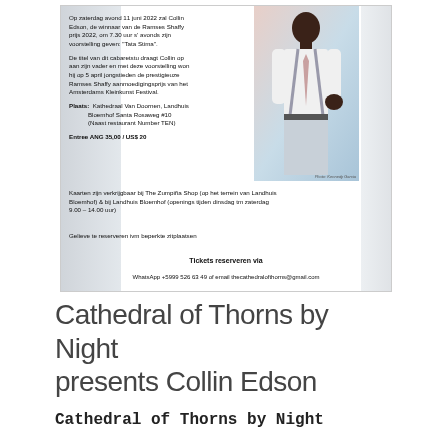[Figure (illustration): Flyer for Cathedral of Thorns by Night presenting Collin Edson performing 'Tata Stima'. Includes a photo of a Black man in white shirt, suspenders and tie, with event details in Dutch including date, venue, ticket price and contact information.]
Cathedral of Thorns by Night presents Collin Edson
Cathedral of Thorns by Night